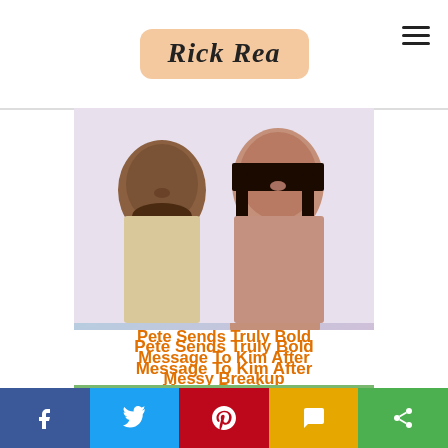Rick Rea
[Figure (photo): Photo of Pete Davidson and Kim Kardashian side by side]
Pete Sends Truly Bold Message To Kim After Messy Breakup
[Figure (photo): Stack of raw red meat pieces on a cutting board]
Ever Wonder Why Aldi's Meat Is So Suspiciously Cheap?
Facebook | Twitter | Pinterest | SMS | Share